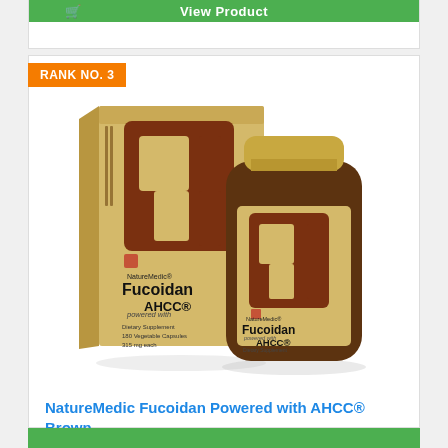[Figure (other): Top partial green 'View Product' bar from previous product card with shopping cart icon]
RANK NO. 3
[Figure (photo): NatureMedic Fucoidan Powered with AHCC product showing a box and bottle with beige/gold label featuring a stylized brown Hebrew letter design. Both box and bottle labeled: NatureMedic Fucoidan powered with AHCC, Dietary Supplement, 180 Vegetable Capsules, 315 mg each.]
NatureMedic Fucoidan Powered with AHCC® Brown...
[Figure (other): Bottom green bar (bottom of page, partial)]